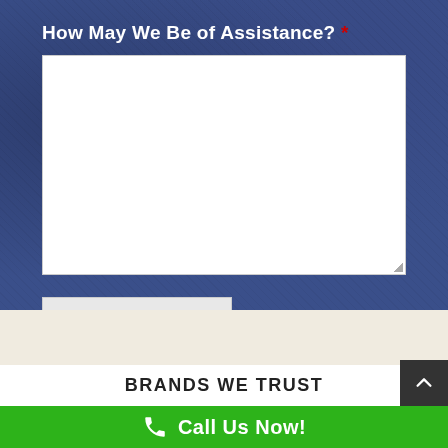How May We Be of Assistance? *
[Figure (screenshot): White textarea input box for user message]
Send Message
BRANDS WE TRUST
Call Us Now!